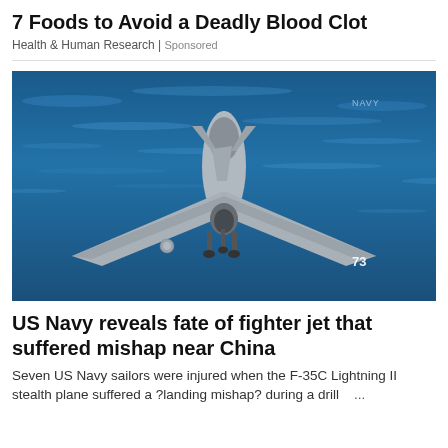7 Foods to Avoid a Deadly Blood Clot
Health & Human Research | Sponsored
[Figure (photo): F-35C Lightning II stealth fighter jet flying low over open blue ocean water, gear down, numbered 73 on the fuselage]
US Navy reveals fate of fighter jet that suffered mishap near China
Seven US Navy sailors were injured when the F-35C Lightning II stealth plane suffered a ?landing mishap? during a drill   ...